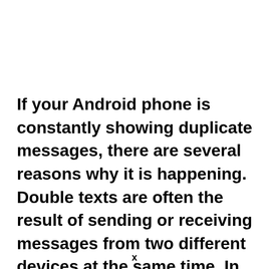If your Android phone is constantly showing duplicate messages, there are several reasons why it is happening. Double texts are often the result of sending or receiving messages from two different devices at the same time. In order to find the exact cause of the problem, follow these troubleshooting steps. If none
x